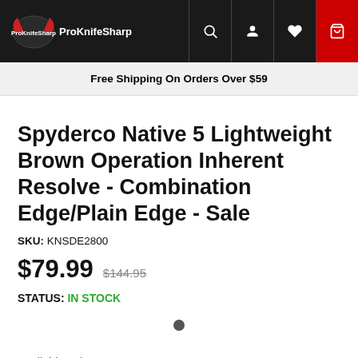ProKnifeSharp
Free Shipping On Orders Over $59
Spyderco Native 5 Lightweight Brown Operation Inherent Resolve - Combination Edge/Plain Edge - Sale
SKU: KNSDE2800
$79.99  $144.95
STATUS: IN STOCK
Available colors 1